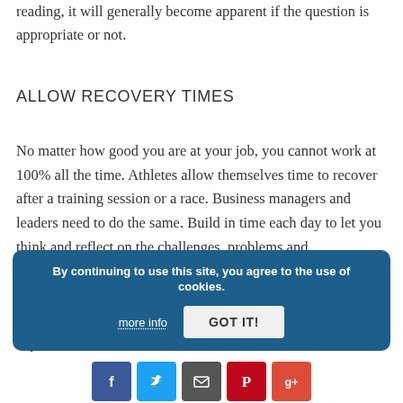reading, it will generally become apparent if the question is appropriate or not.
ALLOW RECOVERY TIMES
No matter how good you are at your job, you cannot work at 100% all the time. Athletes allow themselves time to recover after a training session or a race. Business managers and leaders need to do the same. Build in time each day to let you think and reflect on the challenges, problems and opportunities that are currently on your desk. Ensure that you take a lunch break and that it is away from your desk. This recovery time will allow you to perform better throughout the day.
By continuing to use this site, you agree to the use of cookies. more info  GOT IT!
[Figure (other): Social sharing icons: Facebook (blue), Twitter (light blue), Email/share (dark grey), Pinterest (red), Google+ (orange-red)]